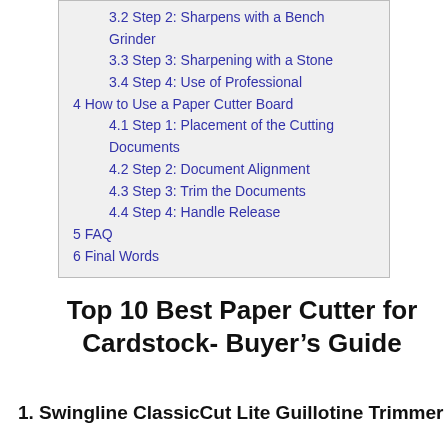3.2 Step 2: Sharpens with a Bench Grinder
3.3 Step 3: Sharpening with a Stone
3.4 Step 4: Use of Professional
4 How to Use a Paper Cutter Board
4.1 Step 1: Placement of the Cutting Documents
4.2 Step 2: Document Alignment
4.3 Step 3: Trim the Documents
4.4 Step 4: Handle Release
5 FAQ
6 Final Words
Top 10 Best Paper Cutter for Cardstock- Buyer’s Guide
1. Swingline ClassicCut Lite Guillotine Trimmer